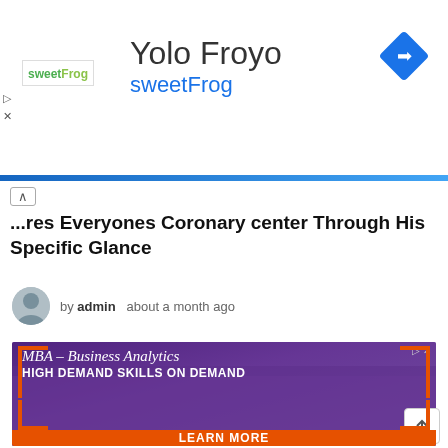[Figure (screenshot): Yolo Froyo / sweetFrog advertisement banner with logo and navigation diamond icon]
...res Everyones Coronary center Through His Specific Glance
by admin   about a month ago
[Figure (screenshot): MBA – Business Analytics advertisement with purple background, photo of business networking scene, orange brackets, and LEARN MORE call-to-action]